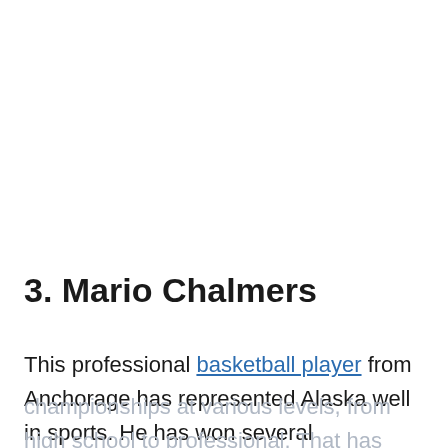3. Mario Chalmers
This professional basketball player from Anchorage has represented Alaska well in sports. He has won several championships at various levels, from high school to professional. That has